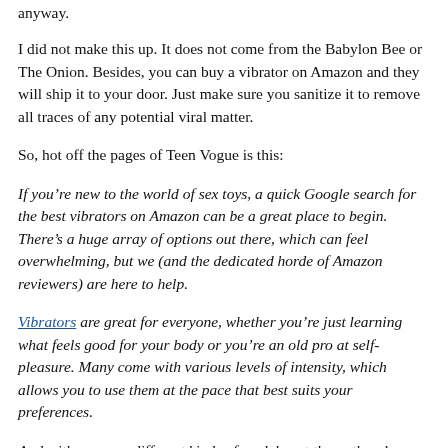anyway.
I did not make this up. It does not come from the Babylon Bee or The Onion. Besides, you can buy a vibrator on Amazon and they will ship it to your door. Just make sure you sanitize it to remove all traces of any potential viral matter.
So, hot off the pages of Teen Vogue is this:
If you’re new to the world of sex toys, a quick Google search for the best vibrators on Amazon can be a great place to begin. There’s a huge array of options out there, which can feel overwhelming, but we (and the dedicated horde of Amazon reviewers) are here to help.
Vibrators are great for everyone, whether you’re just learning what feels good for your body or you’re an old pro at self-pleasure. Many come with various levels of intensity, which allows you to use them at the pace that best suits your preferences.
And with so many different kinds of models out there, there’s bound